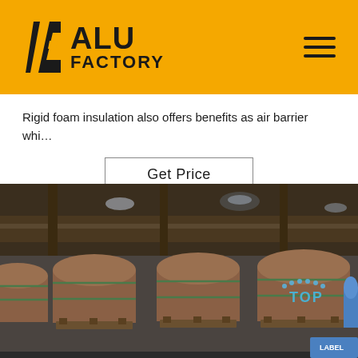[Figure (logo): Alu Factory logo on golden/amber yellow header bar with hamburger menu icon on right]
Rigid foam insulation also offers benefits as air barrier whi…
Get Price
[Figure (photo): Industrial warehouse interior showing multiple large cylindrical aluminum coil rolls wrapped in brown paper packaging with green strapping tape, standing upright on wooden pallets. Blue 'TOP' label visible on rightmost coil. Steel roof structure visible overhead with skylights.]